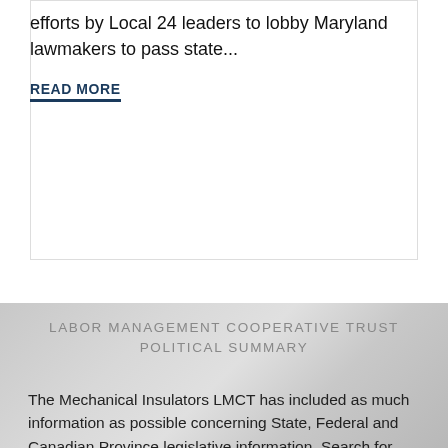efforts by Local 24 leaders to lobby Maryland lawmakers to pass state...
READ MORE
LABOR MANAGEMENT COOPERATIVE TRUST POLITICAL SUMMARY
The Mechanical Insulators LMCT has included as much information as possible concerning State, Federal and Canadian Province legislative information. Search for your state/province and you will find a brief description of pertinent information